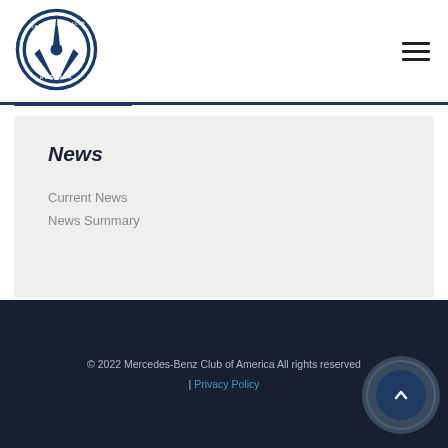[Figure (logo): Mercedes-Benz Club of America circular logo with three-pointed star]
News
Current News
News Summary
© 2022 Mercedes-Benz Club of America All rights reserved | Privacy Policy